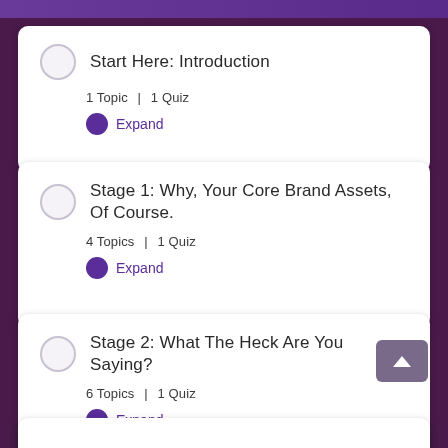Start Here: Introduction — 1 Topic | 1 Quiz — Expand
Stage 1: Why, Your Core Brand Assets, Of Course. — 4 Topics | 1 Quiz — Expand
Stage 2: What The Heck Are You Saying? — 6 Topics | 1 Quiz — Expand